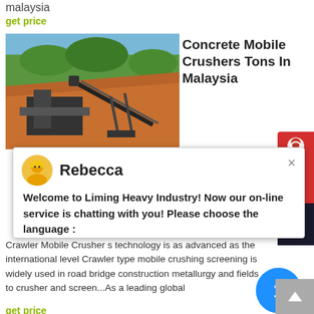malaysia
get price
[Figure (photo): Photo of a crawler mobile crusher/screening machine on a hillside with orange soil and trees in background]
Concrete Mobile Crushers Tons In Malaysia
concrete mobile crushers tons in
Rebecca
Welcome to Liming Heavy Industry! Now our on-line service is chatting with you! Please choose the language :
Crawler Mobile Crusher s technology is as advanced as the international level Crawler type mobile crushing screening is widely used in road bridge construction metallurgy and fields to crusher and screen...As a leading global
get price
[Figure (photo): Photo of a building with scaffolding and stone/brick facade - Ton Rock Crusher Machine]
Ton Rock Crusher Machine Price In Malaysia